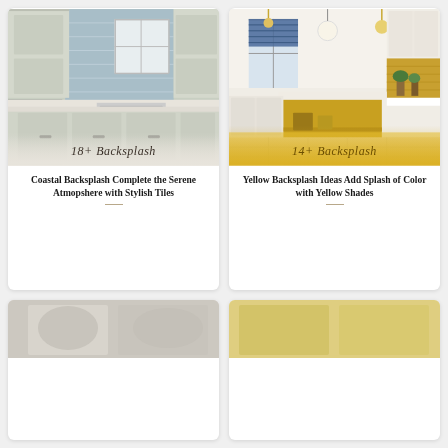[Figure (photo): Kitchen with sage/cream cabinets and blue subway tile backsplash. Badge reads '18+ Backsplash'.]
Coastal Backsplash Complete the Serene Atmopshere with Stylish Tiles
[Figure (photo): Bright kitchen with white cabinets and yellow island, gold pendant lights, golden tile backsplash. Badge reads '14+ Backsplash'.]
Yellow Backsplash Ideas Add Splash of Color with Yellow Shades
[Figure (photo): Partial view of another kitchen card at the bottom left.]
[Figure (photo): Partial view of another kitchen card at the bottom right.]